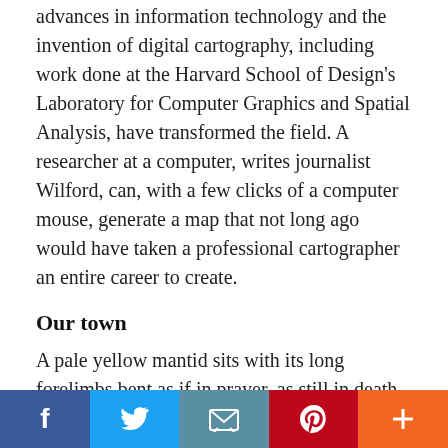advances in information technology and the invention of digital cartography, including work done at the Harvard School of Design's Laboratory for Computer Graphics and Spatial Analysis, have transformed the field. A researcher at a computer, writes journalist Wilford, can, with a few clicks of a computer mouse, generate a map that not long ago would have taken a professional cartographer an entire career to create.
Our town
A pale yellow mantid sits with its long forelimbs bent as if in prayer, as still in death as it often was in life. Pinned to a board within a framed display that also includes beetles, saw-wasps, dragonflies, and other … ntid hangs on the wall of
[Figure (other): Social media share bar at the bottom with Facebook (blue), Twitter (light blue), Email (teal/blue-grey), Pinterest (red), and a plus/more button (orange)]